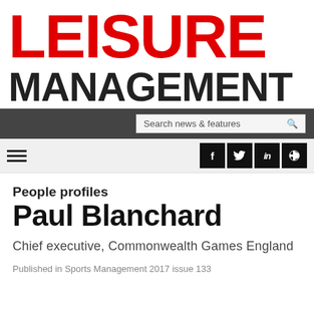LEISURE MANAGEMENT
[Figure (screenshot): Search bar with text 'Search news & features' and a search icon, on a dark grey background]
[Figure (screenshot): Navigation bar with hamburger menu icon on left and social media icons (Facebook, Twitter, LinkedIn, RSS) on right]
People profiles
Paul Blanchard
Chief executive, Commonwealth Games England
Published in Sports Management 2017 issue 133